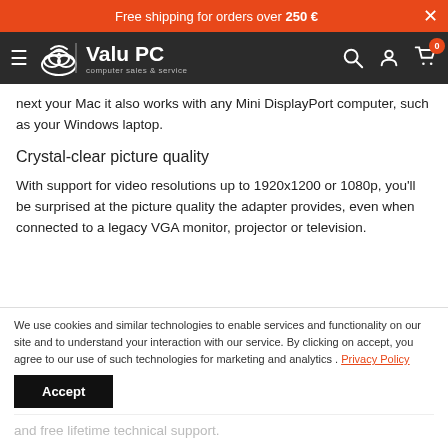Free shipping for orders over 250 €
[Figure (logo): Valu PC logo — computer sales & service — white text on dark navbar]
next your Mac it also works with any Mini DisplayPort computer, such as your Windows laptop.
Crystal-clear picture quality
With support for video resolutions up to 1920x1200 or 1080p, you'll be surprised at the picture quality the adapter provides, even when connected to a legacy VGA monitor, projector or television.
We use cookies and similar technologies to enable services and functionality on our site and to understand your interaction with our service. By clicking on accept, you agree to our use of such technologies for marketing and analytics . Privacy Policy
Accept
and free lifetime technical support.